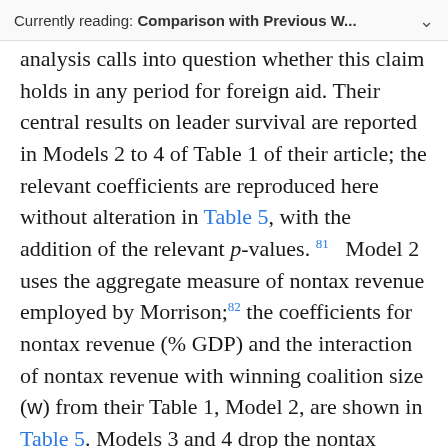Currently reading: Comparison with Previous W...
analysis calls into question whether this claim holds in any period for foreign aid. Their central results on leader survival are reported in Models 2 to 4 of Table 1 of their article; the relevant coefficients are reproduced here without alteration in Table 5, with the addition of the relevant p-values. [81] Model 2 uses the aggregate measure of nontax revenue employed by Morrison; [82] the coefficients for nontax revenue (% GDP) and the interaction of nontax revenue with winning coalition size (w) from their Table 1, Model 2, are shown in Table 5. Models 3 and 4 drop the nontax revenue variable and instead include variables for oil exports as a percent of gross domestic product (GDP) (Models 3 and 4) and aid as a percent of GDP (Model 4). [83] Data on foreign aid and oil for Models 3 and 4 are from the World Bank. The time period is 1972–2000 in Model 2